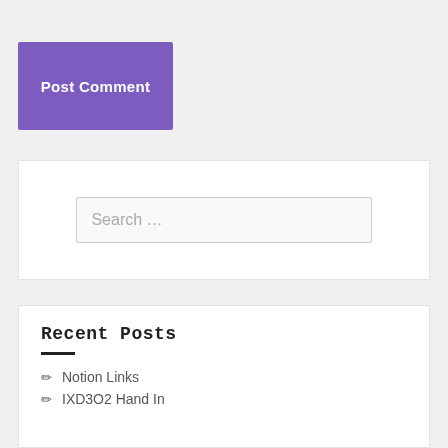[Figure (other): Purple button labeled 'Post Comment']
[Figure (screenshot): Search input box with placeholder text 'Search ...']
Recent Posts
Notion Links
IXD3O2 Hand In